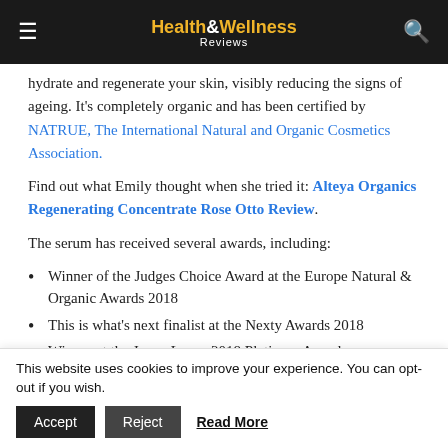Health & Wellness Reviews
hydrate and regenerate your skin, visibly reducing the signs of ageing. It's completely organic and has been certified by NATRUE, The International Natural and Organic Cosmetics Association.
Find out what Emily thought when she tried it: Alteya Organics Regenerating Concentrate Rose Otto Review.
The serum has received several awards, including:
Winner of the Judges Choice Award at the Europe Natural & Organic Awards 2018
This is what's next finalist at the Nexty Awards 2018
Winner at the Janey Loves 2018 Platinum Awards
Finalist of the Pure Beauty Global Awards 2018
This website uses cookies to improve your experience. You can opt-out if you wish. Accept Reject Read More